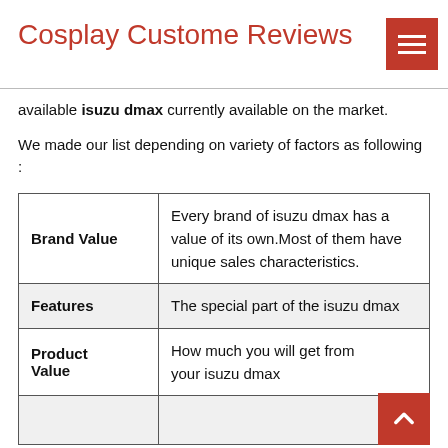Cosplay Custome Reviews
available isuzu dmax currently available on the market.
We made our list depending on variety of factors as following :
|  |  |
| --- | --- |
| Brand Value | Every brand of isuzu dmax has a value of its own.Most of them have unique sales characteristics. |
| Features | The special part of the isuzu dmax |
| Product Value | How much you will get from your isuzu dmax |